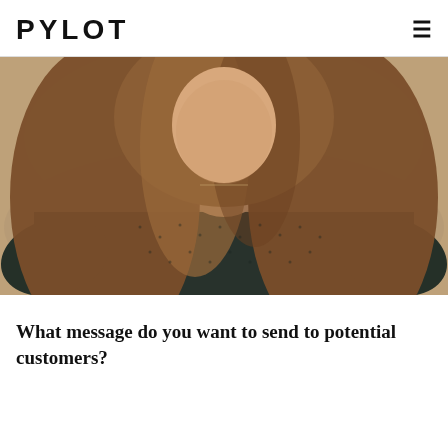PYLOT
[Figure (photo): Portrait photo of a young woman with long brown hair wearing a dark textured sweater, photographed from chest up against a blurred outdoor background.]
What message do you want to send to potential customers?